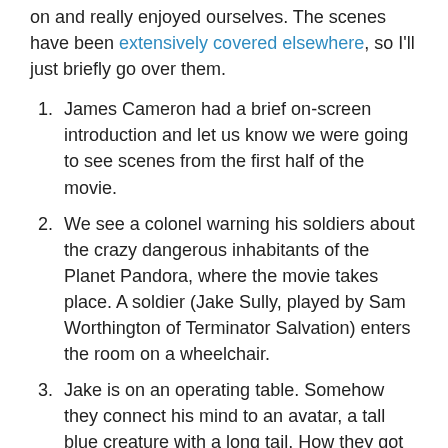on and really enjoyed ourselves. The scenes have been extensively covered elsewhere, so I'll just briefly go over them.
James Cameron had a brief on-screen introduction and let us know we were going to see scenes from the first half of the movie.
We see a colonel warning his soldiers about the crazy dangerous inhabitants of the Planet Pandora, where the movie takes place. A soldier (Jake Sully, played by Sam Worthington of Terminator Salvation) enters the room on a wheelchair.
Jake is on an operating table. Somehow they connect his mind to an avatar, a tall blue creature with a long tail. How they got this blue body isn't clear from what I saw. Jake is so happy to be able to walk that he